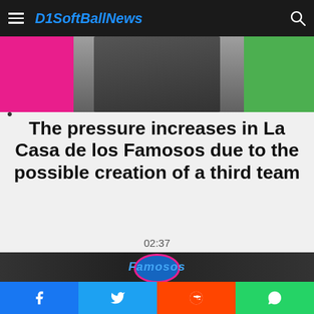D1SoftBallNews
[Figure (photo): Top photo showing a person wearing a dark jacket over a blue shirt, with magenta background on the left and green on the right]
The pressure increases in La Casa de los Famosos due to the possible creation of a third team
02:37
[Figure (photo): Bottom image showing the La Casa de los Famosos logo/set with blue, pink, and dark circular design elements]
Facebook | Twitter | Reddit | WhatsApp share buttons